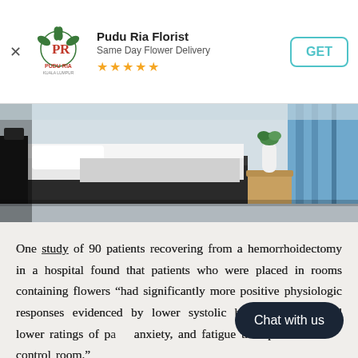[Figure (logo): Pudu Ria Florist logo with red and green emblem, text PUDU RIA KUALA LUMPUR]
Pudu Ria Florist
Same Day Flower Delivery
★★★★★
GET
[Figure (photo): Hospital room with a bed, medical equipment, bedside table with a white vase and plant, blue curtains in the background]
One study of 90 patients recovering from a hemorrhoidectomy in a hospital found that patients who were placed in rooms containing flowers "had significantly more positive physiologic responses evidenced by lower systolic blood pressure, and lower ratings of pain, anxiety, and fatigue than patients in the control room."
Chat with us